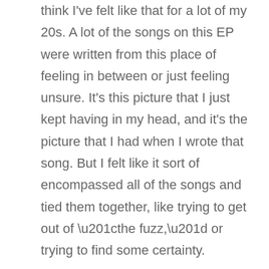think I've felt like that for a lot of my 20s. A lot of the songs on this EP were written from this place of feeling in between or just feeling unsure. It's this picture that I just kept having in my head, and it's the picture that I had when I wrote that song. But I felt like it sort of encompassed all of the songs and tied them together, like trying to get out of “the fuzz,” or trying to find some certainty.